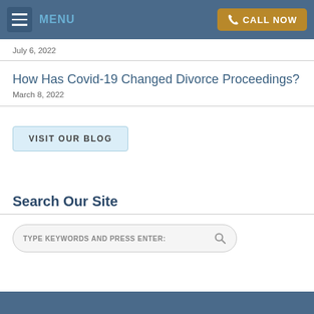MENU | CALL NOW
July 6, 2022
How Has Covid-19 Changed Divorce Proceedings?
March 8, 2022
VISIT OUR BLOG
Search Our Site
TYPE KEYWORDS AND PRESS ENTER: